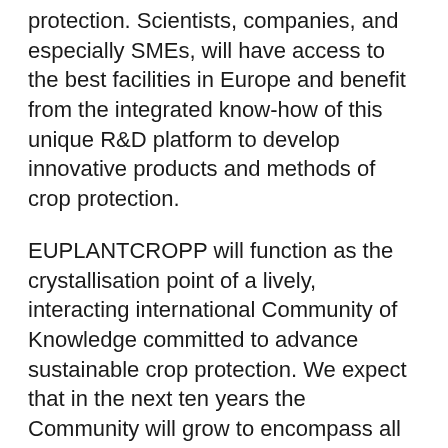protection. Scientists, companies, and especially SMEs, will have access to the best facilities in Europe and benefit from the integrated know-how of this unique R&D platform to develop innovative products and methods of crop protection.
EUPLANTCROPP will function as the crystallisation point of a lively, interacting international Community of Knowledge committed to advance sustainable crop protection. We expect that in the next ten years the Community will grow to encompass all relevant research communities and infrastructures, breeding companies, farmers, producers of bio-pesticides, regulatory authorities and other key stakeholders in Europe.
A legal entity, in the form of a non-profit Association, will be set up with the main objective of maintaining, extending and exploiting the research infrastructure and associated resources across all relevant